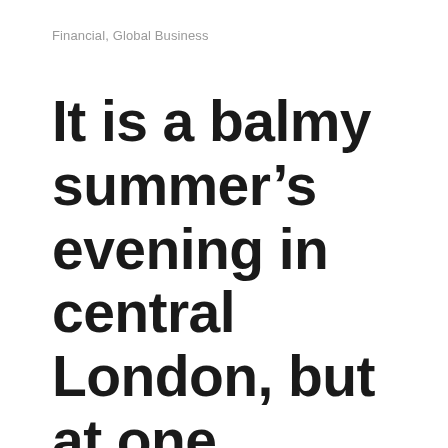Financial, Global Business
It is a balmy summer’s evening in central London, but at one restaurant the Christmas party season is already